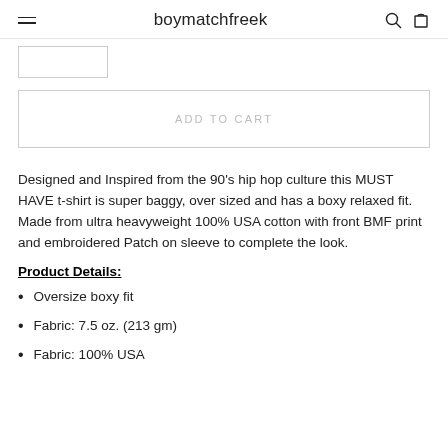boymatchfreek
Designed and Inspired from the 90's hip hop culture this MUST HAVE t-shirt is super baggy, over sized and has a boxy relaxed fit. Made from ultra heavyweight 100% USA cotton with front BMF print and embroidered Patch on sleeve to complete the look.
Product Details:
Oversize boxy fit
Fabric: 7.5 oz. (213 gm)
Fabric: 100% USA cotton